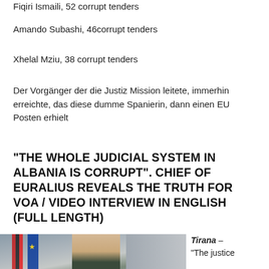Fiqiri Ismaili, 52 corrupt tenders
Amando Subashi, 46corrupt tenders
Xhelal Mziu, 38 corrupt tenders
Der Vorgänger der die Justiz Mission leitete, immerhin erreichte, das diese dumme Spanierin, dann einen EU Posten erhielt
“THE WHOLE JUDICIAL SYSTEM IN ALBANIA IS CORRUPT”. CHIEF OF EURALIUS REVEALS THE TRUTH FOR VOA / VIDEO INTERVIEW IN ENGLISH (FULL LENGTH)
[Figure (photo): Photo of a person seated, with Albanian and EU flags visible in the background]
Tirana – “The justice